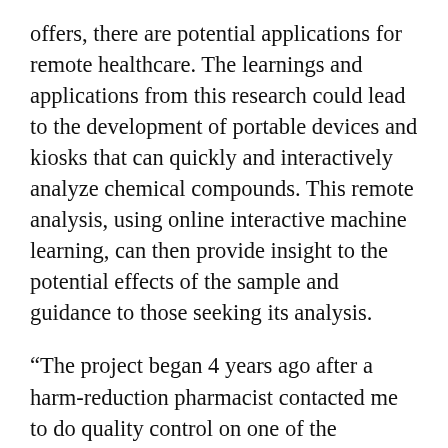offers, there are potential applications for remote healthcare. The learnings and applications from this research could lead to the development of portable devices and kiosks that can quickly and interactively analyze chemical compounds. This remote analysis, using online interactive machine learning, can then provide insight to the potential effects of the sample and guidance to those seeking its analysis.
“The project began 4 years ago after a harm-reduction pharmacist contacted me to do quality control on one of the prescription drugs he was dispensing,” Hore explained. “While he had been acquiring the particular drug for years from the same manufacturer, his customers were telling him it was